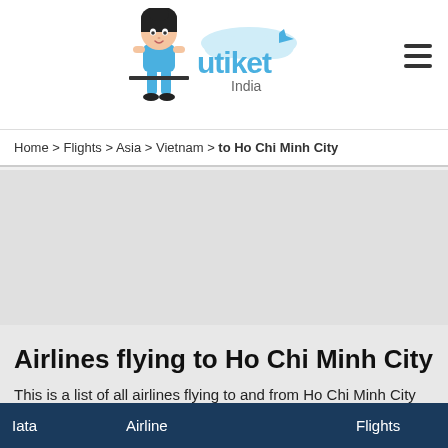[Figure (logo): Utiket India logo with cartoon mascot girl and utiket brand name with airplane icon, India subtitle]
Home > Flights > Asia > Vietnam > to Ho Chi Minh City
Airlines flying to Ho Chi Minh City
This is a list of all airlines flying to and from Ho Chi Minh City and how many flights they operate from Ho Chi Minh City.
| Iata | Airline | Flights |
| --- | --- | --- |